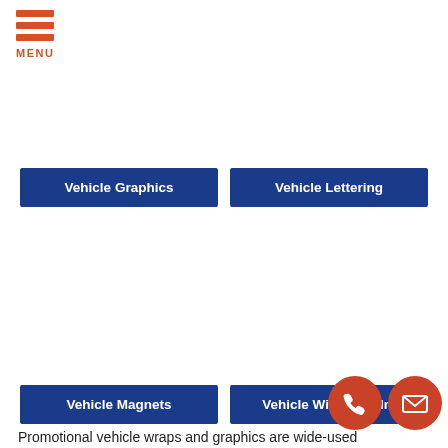[Figure (logo): Hamburger menu icon with three orange horizontal bars and MENU label in orange]
Vehicle Graphics
Vehicle Lettering
Vehicle Magnets
Vehicle Window Film
Promotional vehicle wraps and graphics are wide-used